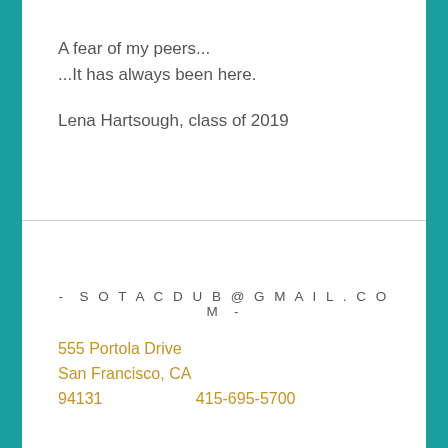A fear of my peers...
...It has always been here.
Lena Hartsough, class of 2019
- SOTACDUB@GMAIL.COM -
555 Portola Drive
San Francisco, CA
94131
415-695-5700